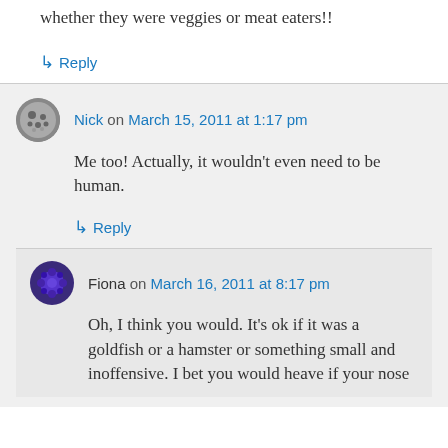whether they were veggies or meat eaters!!
↳ Reply
Nick on March 15, 2011 at 1:17 pm
Me too! Actually, it wouldn't even need to be human.
↳ Reply
Fiona on March 16, 2011 at 8:17 pm
Oh, I think you would. It's ok if it was a goldfish or a hamster or something small and inoffensive. I bet you would heave if your nose...